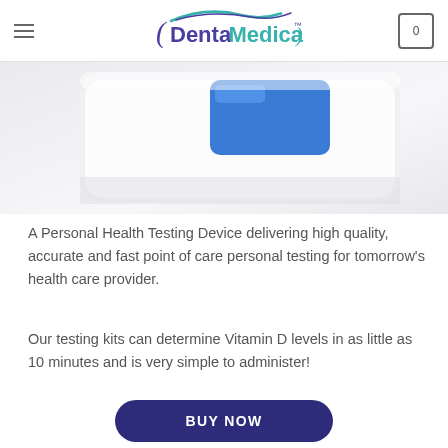DentaMedica
[Figure (photo): Close-up photo of a white personal health testing device with a blue button/screen element, shown at an angle on a white background.]
A Personal Health Testing Device delivering high quality, accurate and fast point of care personal testing for tomorrow's health care provider.
Our testing kits can determine Vitamin D levels in as little as 10 minutes and is very simple to administer!
BUY NOW